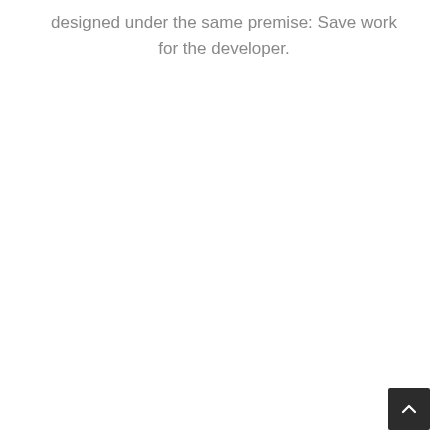designed under the same premise: Save work for the developer.
[Figure (other): Back to top button: a dark square button with an upward-pointing chevron arrow icon, positioned in the bottom-right corner of the page.]